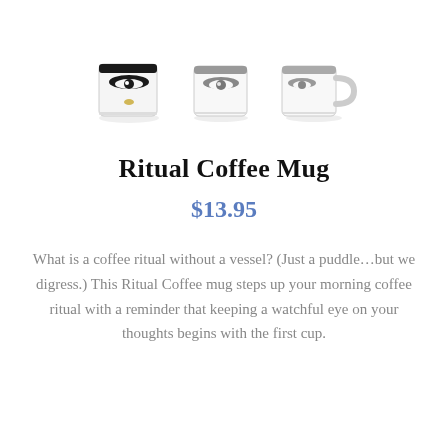[Figure (photo): Three white ceramic coffee mugs with a design featuring stylized eyes, shown from different angles: front, three-quarter, and side with handle visible.]
Ritual Coffee Mug
$13.95
What is a coffee ritual without a vessel? (Just a puddle…but we digress.) This Ritual Coffee mug steps up your morning coffee ritual with a reminder that keeping a watchful eye on your thoughts begins with the first cup.